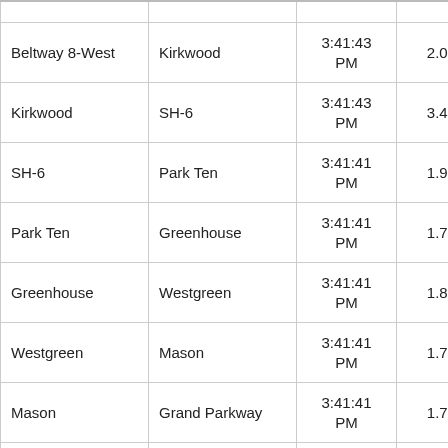| From | To | Time | Col4 | Col5 |
| --- | --- | --- | --- | --- |
| Beltway 8-West | Kirkwood | 3:41:43 PM | 2.00 | 3: |
| Kirkwood | SH-6 | 3:41:43 PM | 3.40 | 5: |
| SH-6 | Park Ten | 3:41:41 PM | 1.90 | 3: |
| Park Ten | Greenhouse | 3:41:41 PM | 1.70 | 1: |
| Greenhouse | Westgreen | 3:41:41 PM | 1.80 | 2: |
| Westgreen | Mason | 3:41:41 PM | 1.70 | 1: |
| Mason | Grand Parkway | 3:41:41 PM | 1.70 | 1: |
| Grand Parkway | Pin Oak | 3:41:41 PM | 1.90 | 1: |
| Pin Oak | Pederson | 3:41:41 PM | 3.70 | 4: |